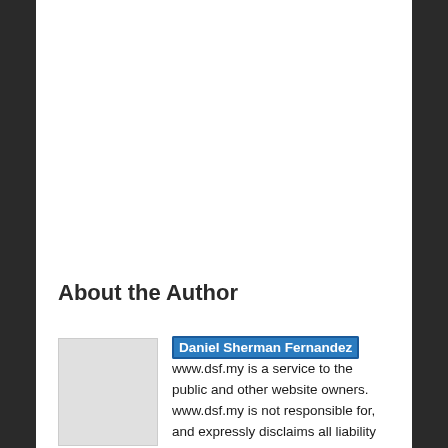About the Author
Daniel Sherman Fernandez www.dsf.my is a service to the public and other website owners. www.dsf.my is not responsible for, and expressly disclaims all liability for, damages of any kind arising out of use, reference to, or reliance on